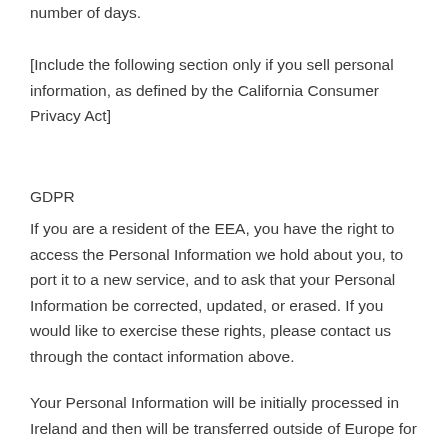number of days.
[Include the following section only if you sell personal information, as defined by the California Consumer Privacy Act]
GDPR
If you are a resident of the EEA, you have the right to access the Personal Information we hold about you, to port it to a new service, and to ask that your Personal Information be corrected, updated, or erased. If you would like to exercise these rights, please contact us through the contact information above.
Your Personal Information will be initially processed in Ireland and then will be transferred outside of Europe for